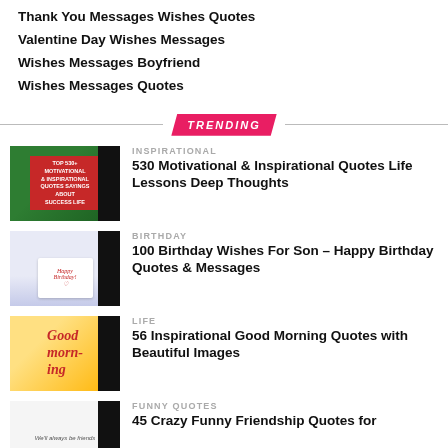Thank You Messages Wishes Quotes
Valentine Day Wishes Messages
Wishes Messages Boyfriend
Wishes Messages Quotes
TRENDING
[Figure (photo): Motivational quotes book cover on green background]
INSPIRATIONAL
530 Motivational & Inspirational Quotes Life Lessons Deep Thoughts
[Figure (photo): Happy birthday card with flowers]
BIRTHDAY
100 Birthday Wishes For Son – Happy Birthday Quotes & Messages
[Figure (photo): Good morning handwritten on paper]
LIFE
56 Inspirational Good Morning Quotes with Beautiful Images
[Figure (photo): Funny friendship quotes image]
FUNNY QUOTES
45 Crazy Funny Friendship Quotes for